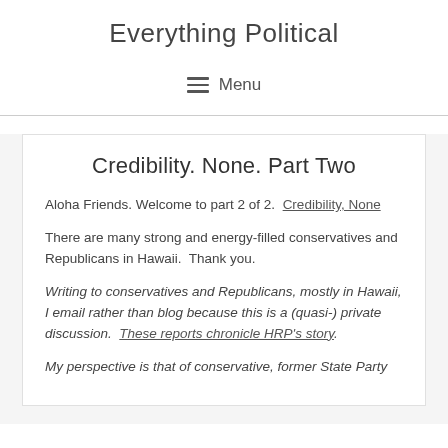Everything Political
≡ Menu
Credibility. None. Part Two
Aloha Friends. Welcome to part 2 of 2.  Credibility, None
There are many strong and energy-filled conservatives and Republicans in Hawaii.  Thank you.
Writing to conservatives and Republicans, mostly in Hawaii, I email rather than blog because this is a (quasi-) private discussion.  These reports chronicle HRP's story.
My perspective is that of conservative, former State Party